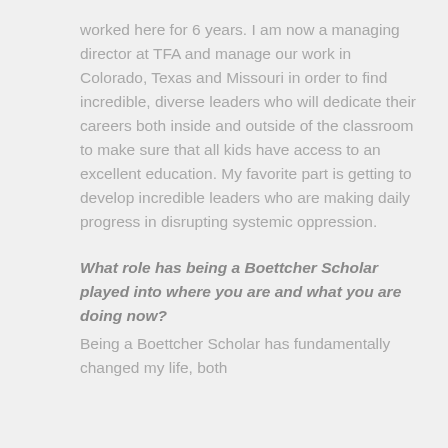worked here for 6 years. I am now a managing director at TFA and manage our work in Colorado, Texas and Missouri in order to find incredible, diverse leaders who will dedicate their careers both inside and outside of the classroom to make sure that all kids have access to an excellent education. My favorite part is getting to develop incredible leaders who are making daily progress in disrupting systemic oppression.
What role has being a Boettcher Scholar played into where you are and what you are doing now?
Being a Boettcher Scholar has fundamentally changed my life, both